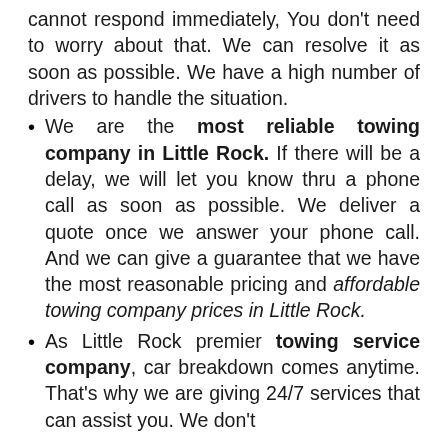cannot respond immediately, You don't need to worry about that. We can resolve it as soon as possible. We have a high number of drivers to handle the situation.
We are the most reliable towing company in Little Rock. If there will be a delay, we will let you know thru a phone call as soon as possible. We deliver a quote once we answer your phone call. And we can give a guarantee that we have the most reasonable pricing and affordable towing company prices in Little Rock.
As Little Rock premier towing service company, car breakdown comes anytime. That's why we are giving 24/7 services that can assist you. We don't